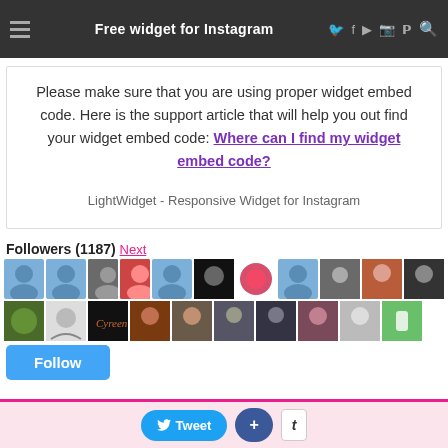Free widget for Instagram
Please make sure that you are using proper widget embed code. Here is the support article that will help you out find your widget embed code: Where can I find my widget embed code?
LightWidget - Responsive Widget for Instagram
Followers (1187) Next
[Figure (other): Two rows of follower avatar thumbnails showing profile photos and placeholder icons]
Follow